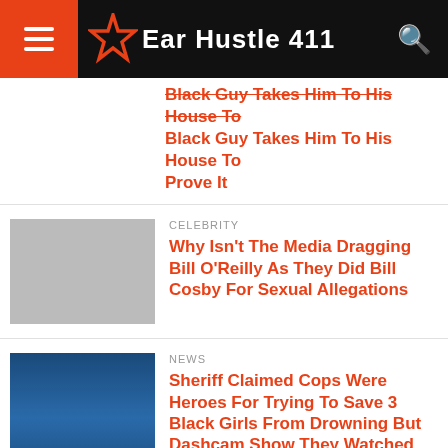Ear Hustle 411
Black Guy Takes Him To His House To Prove It
CELEBRITY
Why Isn't The Media Dragging Bill O'Reilly As They Did Bill Cosby For Sexual Allegations
NEWS
Sheriff Claimed Cops Were Heroes For Trying To Save 3 Black Girls From Drowning But Dashcam Show They Watched Them Scream As They Drowned
Pet Food, Products, Supplies at Low Prices -
Pay the lowest prices on pet supplies at Chewy.com
chewy.com